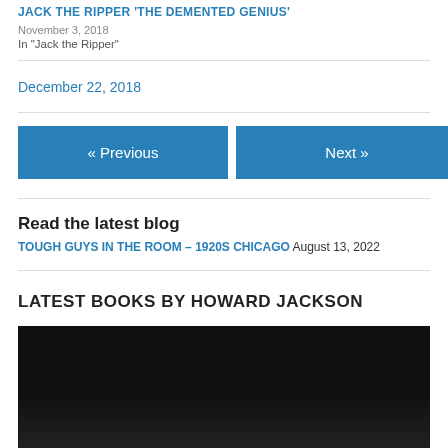JACK THE RIPPER 'THE DEMENTED GENIUS'
November 3, 2018
In "Jack the Ripper"
December 22, 2018
« Previous
Next »
Read the latest blog
TOUGH GUYS IN THE ROOM – 1920s CHICAGO August 13, 2022
LATEST BOOKS BY HOWARD JACKSON
[Figure (photo): Dark image, appears to be a book cover (bottom portion cut off)]